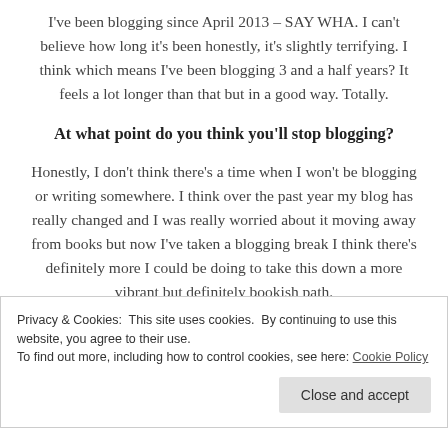I've been blogging since April 2013 – SAY WHA. I can't believe how long it's been honestly, it's slightly terrifying. I think which means I've been blogging 3 and a half years? It feels a lot longer than that but in a good way. Totally.
At what point do you think you'll stop blogging?
Honestly, I don't think there's a time when I won't be blogging or writing somewhere. I think over the past year my blog has really changed and I was really worried about it moving away from books but now I've taken a blogging break I think there's definitely more I could be doing to take this down a more vibrant but definitely bookish path.
Privacy & Cookies: This site uses cookies. By continuing to use this website, you agree to their use.
To find out more, including how to control cookies, see here: Cookie Policy